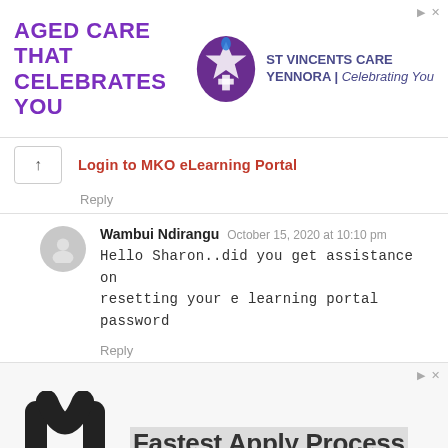[Figure (illustration): Advertisement banner: 'AGED CARE THAT CELEBRATES YOU' in purple bold text on left, St Vincent's Care Yennora logo and branding on right with 'Celebrating You' tagline]
Login to MKO eLearning Portal
Reply
Wambui Ndirangu  October 15, 2020 at 10:10 pm
Hello Sharon..did you get assistance on resetting your e learning portal password
Reply
[Figure (illustration): Advertisement: Monster.com logo (M with green dot) on left, 'Fastest Apply Process' text on right with grey highlight bar]